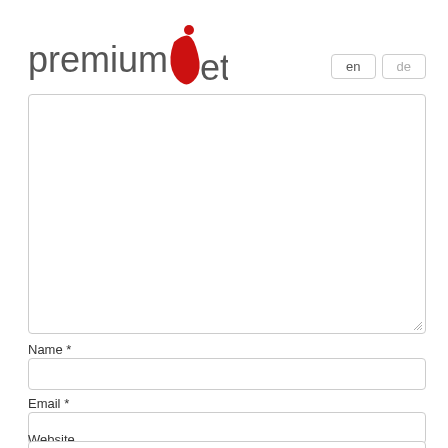[Figure (logo): PremiumVet logo with red stylized 'V' letter and dot accent]
en
de
Name *
Email *
Website